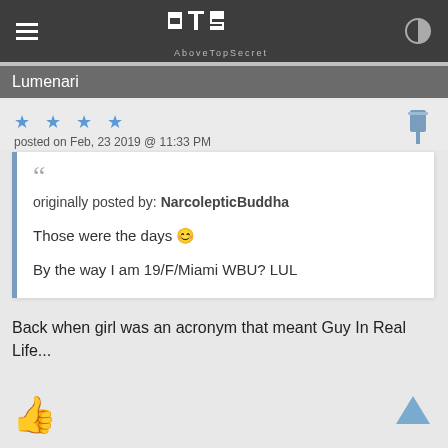[Figure (screenshot): AboveTopSecret (ATS) website logo and navigation bar with hamburger menu icon on left, ATS logo in center, contrast toggle on right, all on dark gray background]
Lumenari
★ ★ ★ ★
posted on Feb, 23 2019 @ 11:33 PM
originally posted by: NarcolepticBuddha

Those were the days 😊

By the way I am 19/F/Miami WBU? LUL
Back when girl was an acronym that meant Guy In Real Life...